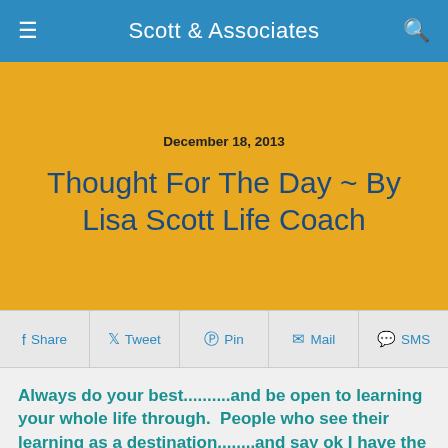Scott & Associates
December 18, 2013
Thought For The Day ~ By Lisa Scott Life Coach
Share  Tweet  Pin  Mail  SMS
Always do your best..........and be open to learning your whole life through.  People who see their learning as a destination........and say ok I have the degree, I'm done, do themselves a huge injustice.  Our character, inner security, and unique talents